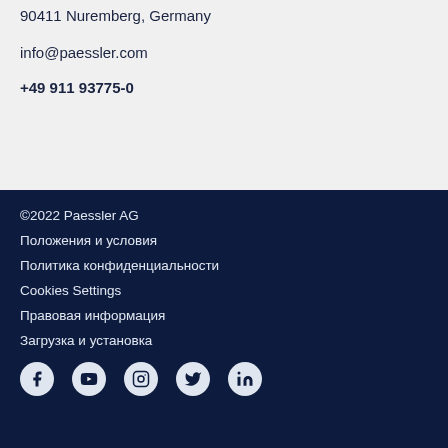90411 Nuremberg, Germany
info@paessler.com
+49 911 93775-0
©2022 Paessler AG
Положения и условия
Политика конфиденциальности
Cookies Settings
Правовая информация
Загрузка и установка
[Figure (illustration): Social media icons: Facebook, YouTube, Instagram, Twitter, LinkedIn]